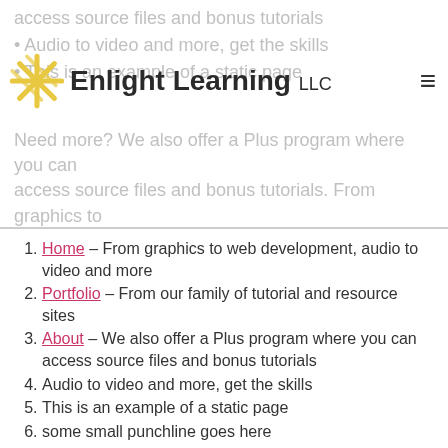Enlight Learning LLC
access source files and bonus tutorials
Audio to video and more, get the skills
This is an example of a static page
Need more? We also offer a Plus program where you can access source files and bonus tutorials. From graphics to web development, audio to video and more
Home – From graphics to web development, audio to video and more
Portfolio – From our family of tutorial and resource sites
About – We also offer a Plus program where you can access source files and bonus tutorials
Audio to video and more, get the skills
This is an example of a static page
some small punchline goes here
[hr top]